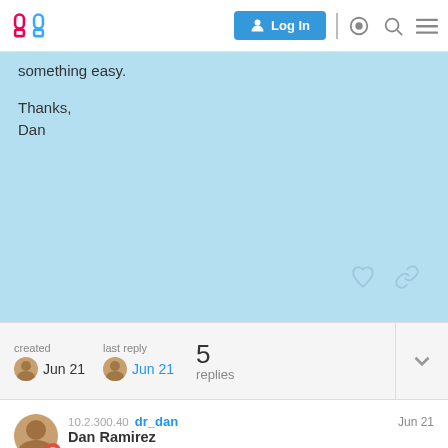Log In
something easy.

Thanks,
Dan
created  Jun 21    last reply  Jun 21    5 replies
10.2.300.40  dr_dan  Dan Ramirez  Patreon Supporter  Jun 21
Bah. I think I figured it out. I just need to look at TFOrdDtl and TFOrdHead. I was filtering based on Open Line and Open TO and I think the Line closes when it's shipped… but the Order